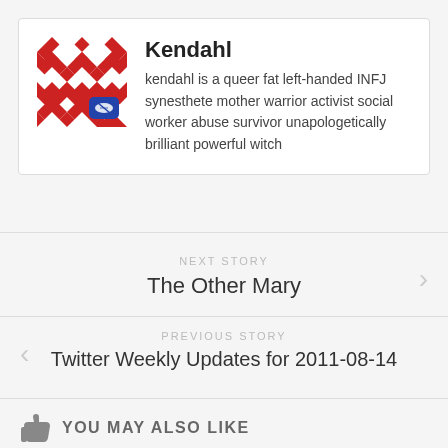[Figure (illustration): Author avatar: red and white geometric pattern with a small blue football/edit icon overlay]
Kendahl
kendahl is a queer fat left-handed INFJ synesthete mother warrior activist social worker abuse survivor unapologetically brilliant powerful witch
NEXT STORY
The Other Mary
PREVIOUS STORY
Twitter Weekly Updates for 2011-08-14
YOU MAY ALSO LIKE